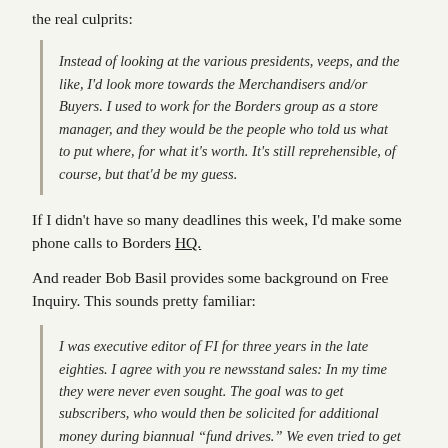the real culprits:
Instead of looking at the various presidents, veeps, and the like, I'd look more towards the Merchandisers and/or Buyers. I used to work for the Borders group as a store manager, and they would be the people who told us what to put where, for what it's worth. It's still reprehensible, of course, but that'd be my guess.
If I didn't have so many deadlines this week, I'd make some phone calls to Borders HQ.
And reader Bob Basil provides some background on Free Inquiry. This sounds pretty familiar:
I was executive editor of FI for three years in the late eighties. I agree with you re newsstand sales: In my time they were never even sought. The goal was to get subscribers, who would then be solicited for additional money during biannual "fund drives." We even tried to get our older subscribers -- those